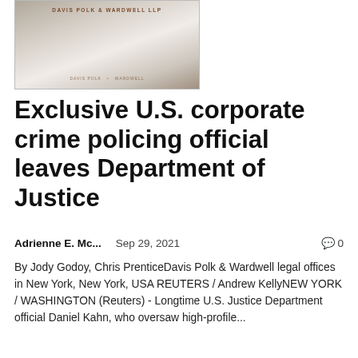[Figure (photo): Photo of Davis Polk & Wardwell LLP legal offices building/signage, showing the firm name in gold lettering on a pale background with a reflective surface]
Exclusive U.S. corporate crime policing official leaves Department of Justice
Adrienne E. Mc...    Sep 29, 2021    💬 0
By Jody Godoy, Chris PrenticeDavis Polk & Wardwell legal offices in New York, New York, USA REUTERS / Andrew KellyNEW YORK / WASHINGTON (Reuters) - Longtime U.S. Justice Department official Daniel Kahn, who oversaw high-profile...